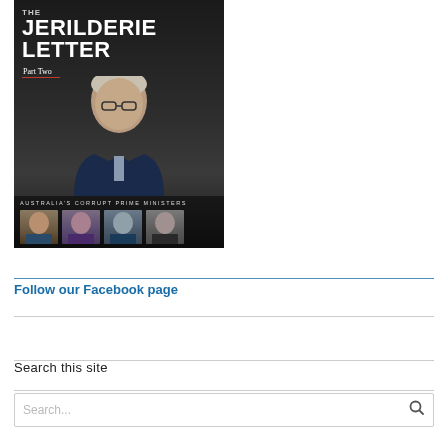[Figure (illustration): Book cover for 'The Jerilderie Letter Part Two' — dark background with a photo of a grey-haired man in glasses and suit, subtitle 'Australia's Corrupt Prime Ministers', with four small portrait photos at the bottom]
Follow our Facebook page
Search this site